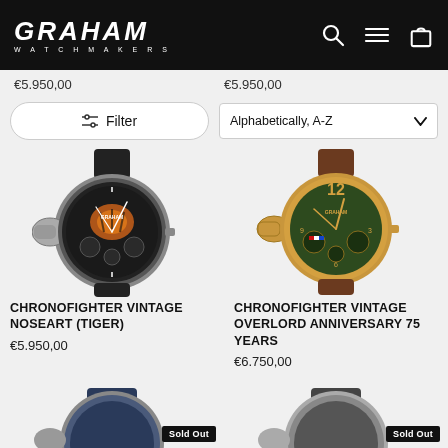GRAHAM WATCHMAKERS
€5.950,00   €5.950,00
Filter   Alphabetically, A-Z
[Figure (photo): Graham Chronofighter Vintage Noseart Tiger watch with dark dial and leather strap]
CHRONOFIGHTER VINTAGE NOSEART (TIGER)
€5.950,00
[Figure (photo): Graham Chronofighter Vintage Overlord Anniversary 75 Years watch with green dial and brown leather strap]
CHRONOFIGHTER VINTAGE OVERLORD ANNIVERSARY 75 YEARS
€6.750,00
[Figure (photo): Graham watch with blue dial, Sold Out badge]
[Figure (photo): Graham watch with grey dial, Sold Out badge]